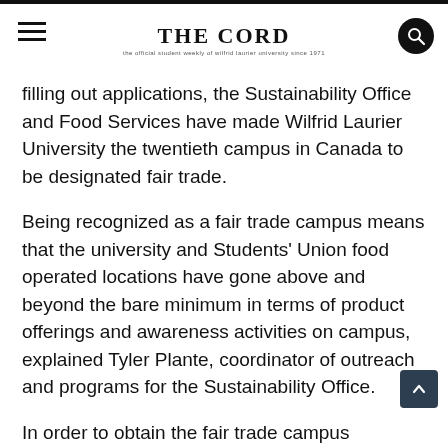THE CORD
filling out applications, the Sustainability Office and Food Services have made Wilfrid Laurier University the twentieth campus in Canada to be designated fair trade.
Being recognized as a fair trade campus means that the university and Students’ Union food operated locations have gone above and beyond the bare minimum in terms of product offerings and awareness activities on campus, explained Tyler Plante, coordinator of outreach and programs for the Sustainability Office.
In order to obtain the fair trade campus designation,